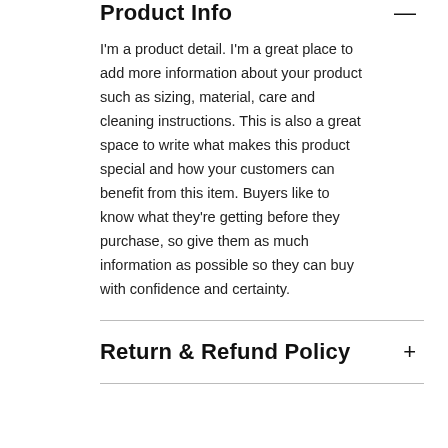Product Info
I'm a product detail. I'm a great place to add more information about your product such as sizing, material, care and cleaning instructions. This is also a great space to write what makes this product special and how your customers can benefit from this item. Buyers like to know what they're getting before they purchase, so give them as much information as possible so they can buy with confidence and certainty.
Return & Refund Policy